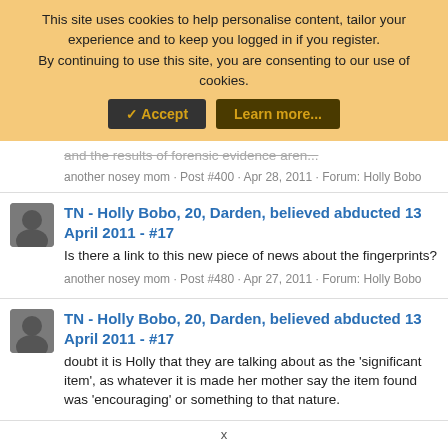This site uses cookies to help personalise content, tailor your experience and to keep you logged in if you register. By continuing to use this site, you are consenting to our use of cookies. ✓ Accept   Learn more...
and the results of forensic evidence aren...
another nosey mom · Post #400 · Apr 28, 2011 · Forum: Holly Bobo
TN - Holly Bobo, 20, Darden, believed abducted 13 April 2011 - #17
Is there a link to this new piece of news about the fingerprints?
another nosey mom · Post #480 · Apr 27, 2011 · Forum: Holly Bobo
TN - Holly Bobo, 20, Darden, believed abducted 13 April 2011 - #17
doubt it is Holly that they are talking about as the 'significant item', as whatever it is made her mother say the item found was 'encouraging' or something to that nature.